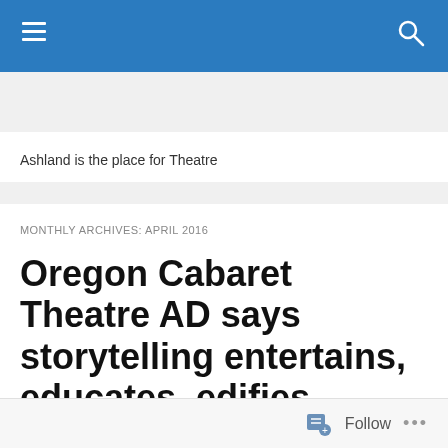Ashland is the place for Theatre
MONTHLY ARCHIVES: APRIL 2016
Oregon Cabaret Theatre AD says storytelling entertains, educates, edifies
[Figure (photo): Partial photo of a person, cropped at bottom of page]
Follow